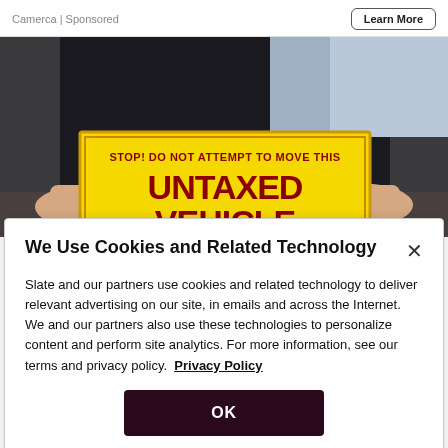Camerca | Sponsored
[Figure (photo): Person holding a yellow warning sign reading 'STOP! DO NOT ATTEMPT TO MOVE THIS UNTAXED VEHICLE' out of a car window]
We Use Cookies and Related Technology
Slate and our partners use cookies and related technology to deliver relevant advertising on our site, in emails and across the Internet. We and our partners also use these technologies to personalize content and perform site analytics. For more information, see our terms and privacy policy. Privacy Policy
OK